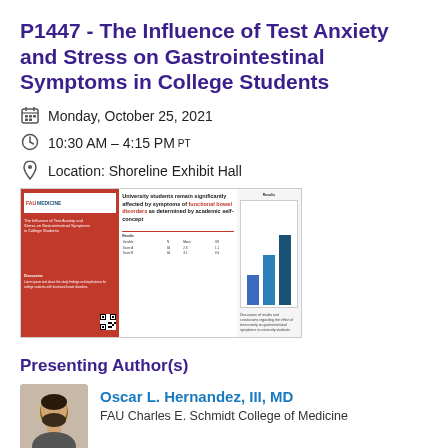P1447 - The Influence of Test Anxiety and Stress on Gastrointestinal Symptoms in College Students
Monday, October 25, 2021
10:30 AM – 4:15 PM PT
Location: Shoreline Exhibit Hall
[Figure (other): Thumbnail of academic poster about the influence of test anxiety and stress on gastrointestinal symptoms in college students, showing text, a bar chart, and a QR code. FAU Medicine branding visible.]
Presenting Author(s)
[Figure (photo): Headshot photo of Oscar L. Hernandez, III, MD, showing a man with dark beard.]
Oscar L. Hernandez, III, MD
FAU Charles E. Schmidt College of Medicine